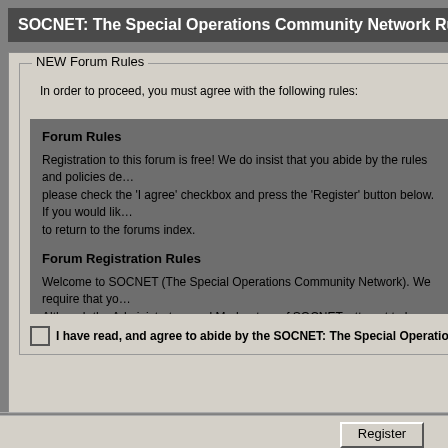SOCNET: The Special Operations Community Network Rules
In order to proceed, you must agree with the following rules:
Forum Rules
Registration to this forum is free! We do insist that you abide by the rules and policies de… please check the 'I agree' checkbox and press the 'Register' button below. If you would lik… to return to the forums index.
Forum Registration Rules
Welcome to SOCNET (The Special Operations Community Network). We require that yo… Although the Administrators and Moderators of SOCNET, attempt to keep all objectionable… impossible for us to review all messages. All messages express the views of the author ar… responsible for the content of his/her post. The Administrators, Moderators and Owners c… edit, or close any thread for any reason without warning.
I have read, and agree to abide by the SOCNET: The Special Operations Comm…